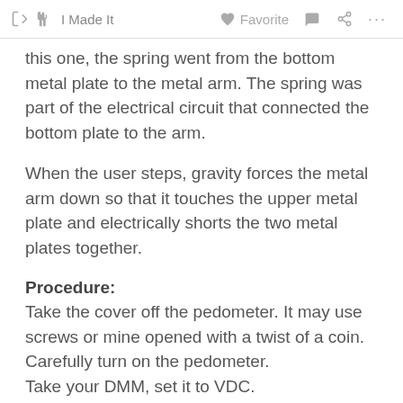I Made It   Favorite   ...
this one, the spring went from the bottom metal plate to the metal arm. The spring was part of the electrical circuit that connected the bottom plate to the arm.
When the user steps, gravity forces the metal arm down so that it touches the upper metal plate and electrically shorts the two metal plates together.
Procedure:
Take the cover off the pedometer. It may use screws or mine opened with a twist of a coin.
Carefully turn on the pedometer.
Take your DMM, set it to VDC.
Place the black-negative lead on the bottom metal